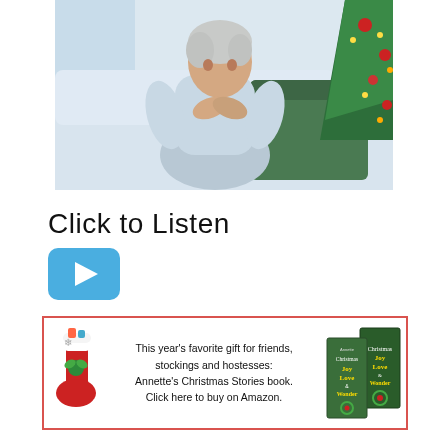[Figure (photo): An elderly woman with white/grey hair sitting on a white couch, hands clasped near her face, looking pensive. Behind her is a green decorative pillow and a Christmas tree with red ornaments and lights in the background. The setting appears to be a living room.]
Click to Listen
[Figure (other): A blue rounded-rectangle play button icon with a white right-pointing triangle in the center.]
[Figure (infographic): Advertisement box with red border. Contains a Christmas stocking illustration on the left, text in the center, and two book cover images on the right. Text reads: This year's favorite gift for friends, stockings and hostesses: Annette's Christmas Stories book. Click here to buy on Amazon. Book covers show 'Christmas Joy Love & Wonder' titles.]